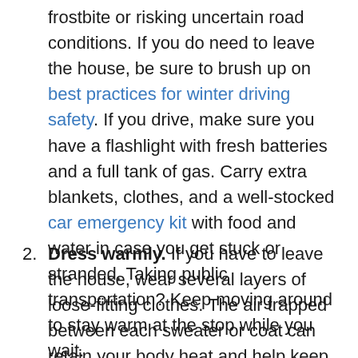frostbite or risking uncertain road conditions. If you do need to leave the house, be sure to brush up on best practices for winter driving safety. If you drive, make sure you have a flashlight with fresh batteries and a full tank of gas. Carry extra blankets, clothes, and a well-stocked car emergency kit with food and water in case you get stuck or stranded. Taking public transportation? Keep moving around to stay warm at the stop while you wait.
Dress warmly. If you have to leave the house, wear several layers of loose-fitting clothes. The air trapped between each sweater or coat can retain your body heat and help keep you warm. It also helps to wear clothing that's made of wool, which can hold in more heat than an item made